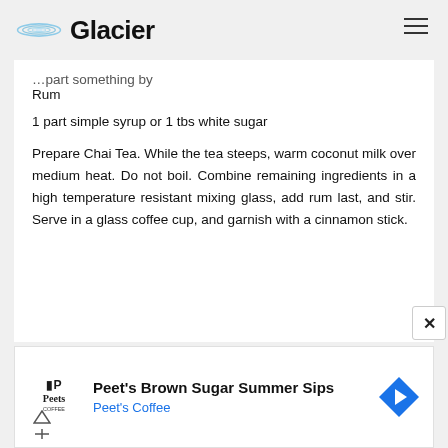Glacier
Rum
1 part simple syrup or 1 tbs white sugar
Prepare Chai Tea. While the tea steeps, warm coconut milk over medium heat. Do not boil. Combine remaining ingredients in a high temperature resistant mixing glass, add rum last, and stir. Serve in a glass coffee cup, and garnish with a cinnamon stick.
[Figure (advertisement): Peet's Coffee ad: Peet's Brown Sugar Summer Sips with Peet's Coffee logo and navigation icon]